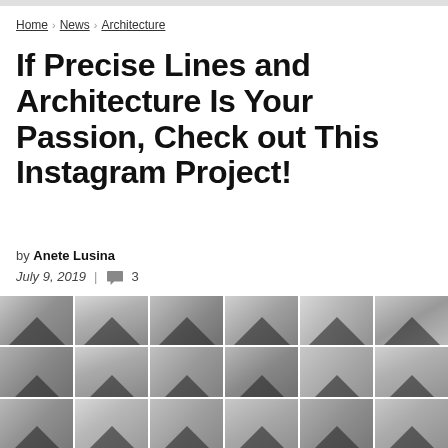Home > News > Architecture
If Precise Lines and Architecture Is Your Passion, Check out This Instagram Project!
by Anete Lusina
July 9, 2019 | 💬 3
[Figure (photo): Grid of black and white architectural Instagram photos showing buildings with triangular geometric lines and sharp angles, arranged in 3 rows of 6 columns]